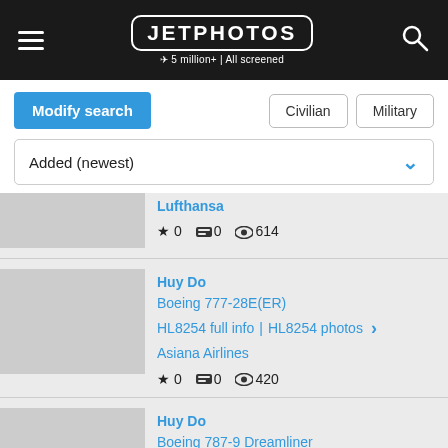JETPHOTOS — 5 million+ | All screened
Modify search | Civilian | Military
Added (newest)
Lufthansa
★ 0  💬 0  👁 614
Huy Do
Boeing 777-28E(ER)
HL8254 full info | HL8254 photos
Asiana Airlines
★ 0  💬 0  👁 420
Huy Do
Boeing 787-9 Dreamliner